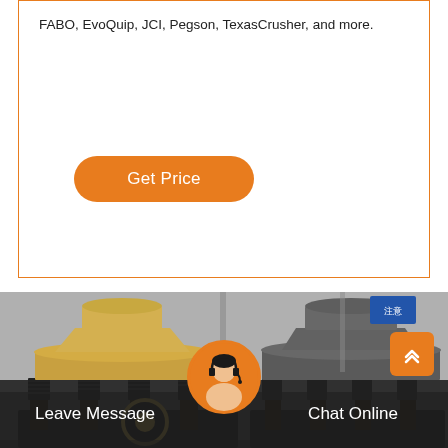FABO, EvoQuip, JCI, Pegson, TexasCrusher, and more.
[Figure (other): Orange rounded rectangle button labeled 'Get Price']
[Figure (photo): Industrial cone crusher machines in a factory setting — a yellow/cream cone crusher on the left and a grey cone crusher on the right, both mounted on black steel frames, with coil springs visible around the base, set inside an industrial warehouse.]
Leave Message
Chat Online